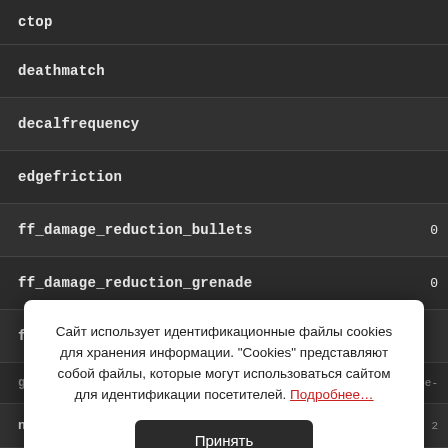| key | value |
| --- | --- |
| ctop |  |
| deathmatch |  |
| decalfrequency |  |
| edgefriction |  |
| ff_damage_reduction_bullets | 0 |
| ff_damage_reduction_grenade | 0 |
| ff_damage_reduction_grenade_self |  |
| (partial row) |  |
| numm..._join_team |  |
Сайт использует идентификационные файлы cookies для хранения информации. "Cookies" представляют собой файлы, которые могут использоваться сайтом для идентификации посетителей. Подробнее...
Принять